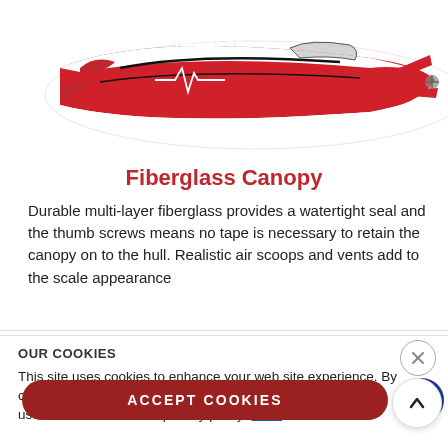[Figure (photo): Red and white RC racing boat labeled 'IMPULSE' with graphic design on the hull, partially cropped at top]
Fiberglass Canopy
Durable multi-layer fiberglass provides a watertight seal and the thumb screws means no tape is necessary to retain the canopy on to the hull. Realistic air scoops and vents add to the scale appearance
OUR COOKIES
This site uses cookies to enhance your web site experience. By continuing to browse or use this site, you are agreeing to our use of cookies. See our privacy policy here.
ACCEPT COOKIES